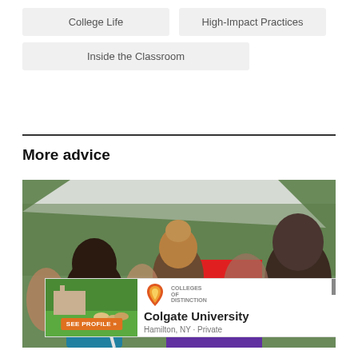College Life
High-Impact Practices
Inside the Classroom
More advice
[Figure (photo): Crowd of people at an outdoor event, one person wearing a rainbow pride flag draped over their back, tents and greenery in background.]
SEE PROFILE »
Colgate University
Hamilton, NY · Private